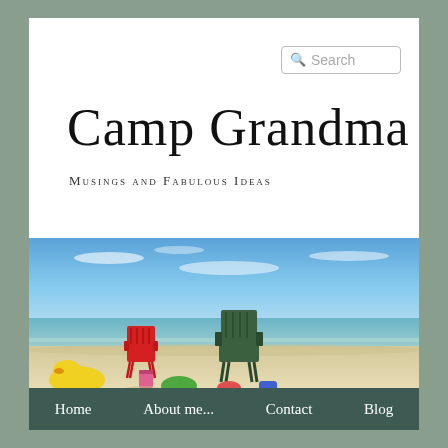Camp Grandma
Musings and Fabulous Ideas
[Figure (photo): Beach scene with two plastic chairs (one red, one dark green) on sandy shore, colorful toys scattered in foreground (yellow duck, green item, others), calm water and blue sky with light clouds in background.]
Home
About me...
Contact
Blog